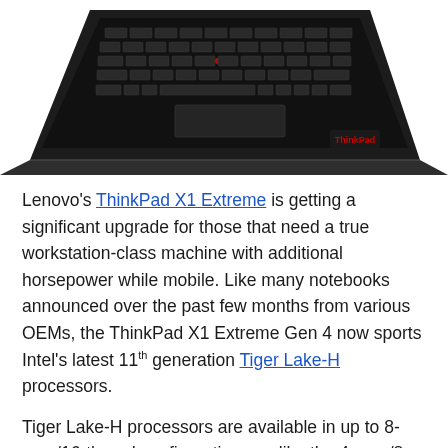[Figure (photo): Top-down view of a Lenovo ThinkPad X1 Extreme laptop showing the keyboard and trackpad against a white background]
Lenovo's ThinkPad X1 Extreme is getting a significant upgrade for those that need a true workstation-class machine with additional horsepower while mobile. Like many notebooks announced over the past few months from various OEMs, the ThinkPad X1 Extreme Gen 4 now sports Intel's latest 11th generation Tiger Lake-H processors.
Tiger Lake-H processors are available in up to 8-core/16-thread configurations, unlike the 4-core/8-thread maximum of its Tiger Lake-U counterparts. In the case of the ThinkPad X1 Extreme Gen 4, Lenovo says that you can configure the laptop with up to a Core i9 vPro processor with up to 64GB of DDR4-3200 RAM (via two SO-DIMM slots). When it comes to storage, two internal M.2 slots